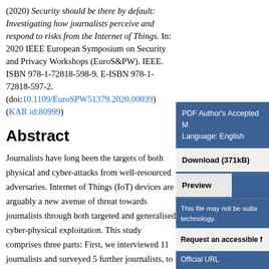(2020) Security should be there by default: Investigating how journalists perceive and respond to risks from the Internet of Things. In: 2020 IEEE European Symposium on Security and Privacy Workshops (EuroS&PW). IEEE. ISBN 978-1-72818-598-9. E-ISBN 978-1-72818-597-2. (doi:10.1109/EuroSPW51379.2020.00039) (KAR id:80999)
Abstract
Journalists have long been the targets of both physical and cyber-attacks from well-resourced adversaries. Internet of Things (IoT) devices are arguably a new avenue of threat towards journalists through both targeted and generalised cyber-physical exploitation. This study comprises three parts: First, we interviewed 11 journalists and surveyed 5 further journalists, to
PDF Author's Accepted M Language: English
Download (371kB)
Preview
This file may not be suita technology.
Request an accessible f
Official URL